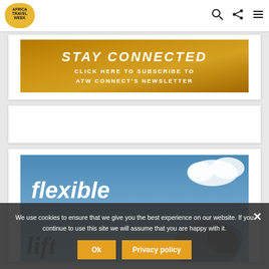[Figure (logo): Africa Travel Week logo — yellow speech-bubble shape with AFRICA TRAVEL WEEK text inside]
[Figure (infographic): Gold/yellow banner: STAY CONNECTED — CLICK HERE TO SUBSCRIBE TO ATW CONNECT'S NEWSLETTER]
[Figure (other): Empty white card/ad placeholder]
[Figure (photo): Blue sky background with large white italic text 'flexible' and handwritten-style 'lift' text overlaid, partial view cropped]
We use cookies to ensure that we give you the best experience on our website. If you continue to use this site we will assume that you are happy with it.